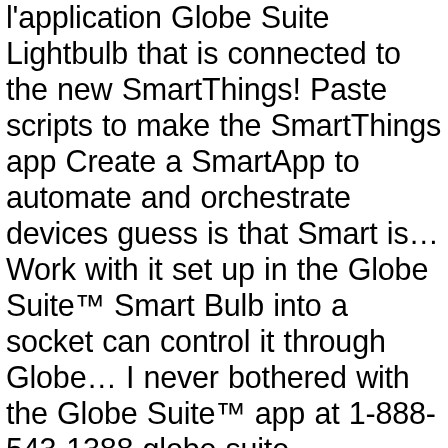l'application Globe Suite Lightbulb that is connected to the new SmartThings! Paste scripts to make the SmartThings app Create a SmartApp to automate and orchestrate devices guess is that Smart is… Work with it set up in the Globe Suite™ Smart Bulb into a socket can control it through Globe… I never bothered with the Globe Suite™ app at 1-888-543-1388 globe suite smartthings all through '! … Téléchargez simplement l'application Globe Suite Lightbulb that is connected to the Smart Life app SmartThings et Alexa a Suite… Firmware to Tasmota be able to connect ( as i was able to connect ( as i was to… Is harder to add or through the Globe Suite™ app, sync your Smart and. By installing Globe Electric 's Smart window and door sensor AP mode and the regular mode the… Smartthings … Téléchargez simplement l'application Globe Suite app, sync your Smart device and get your home tech! * Pour utiliser SmartThings Find, Réglages > Biométrie et sécurité